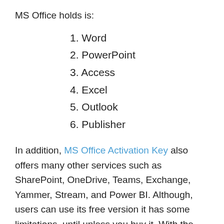MS Office holds is:
1. Word
2. PowerPoint
3. Access
4. Excel
5. Outlook
6. Publisher
In addition, MS Office Activation Key also offers many other services such as SharePoint, OneDrive, Teams, Exchange, Yammer, Stream, and Power BI. Although, users can use its free version it has some limitations, until unless you buy it. With the free version, users can practice only a few features that can possibly corrode your creative thinking and decreases your work efficiency. But once you activate Microsoft Office Crack then you can use all the functions and services without any restrictions and no